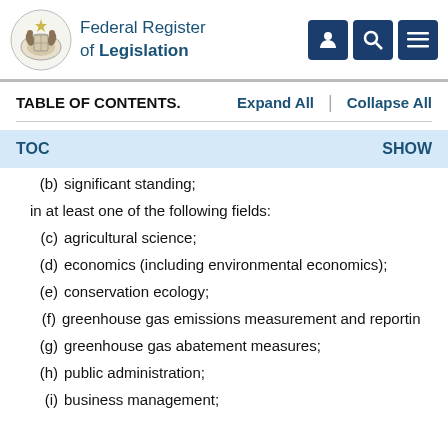Federal Register of Legislation
TABLE OF CONTENTS.
(b) significant standing;
in at least one of the following fields:
(c) agricultural science;
(d) economics (including environmental economics);
(e) conservation ecology;
(f) greenhouse gas emissions measurement and reporting
(g) greenhouse gas abatement measures;
(h) public administration;
(i) business management;